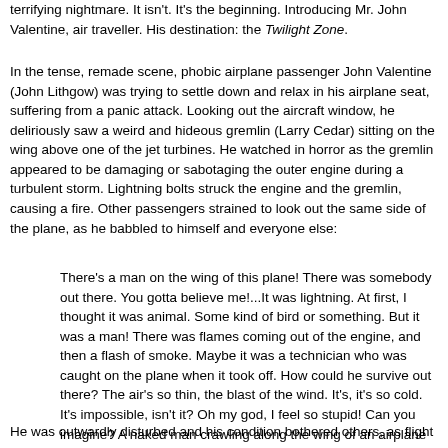terrifying nightmare. It isn't. It's the beginning. Introducing Mr. John Valentine, air traveller. His destination: the Twilight Zone.
In the tense, remade scene, phobic airplane passenger John Valentine (John Lithgow) was trying to settle down and relax in his airplane seat, suffering from a panic attack. Looking out the aircraft window, he deliriously saw a weird and hideous gremlin (Larry Cedar) sitting on the wing above one of the jet turbines. He watched in horror as the gremlin appeared to be damaging or sabotaging the outer engine during a turbulent storm. Lightning bolts struck the engine and the gremlin, causing a fire. Other passengers strained to look out the same side of the plane, as he babbled to himself and everyone else:
There's a man on the wing of this plane! There was somebody out there. You gotta believe me!...It was lightning. At first, I thought it was animal. Some kind of bird or something. But it was a man! There was flames coming out of the engine, and then a flash of smoke. Maybe it was a technician who was caught on the plane when it took off. How could he survive out there? The air's so thin, the blast of the wind. It's, it's so cold. It's impossible, isn't it? Oh my god, I feel so stupid! Can you imagine? A naked man crawling along the wing of an airplane at 35,000 feet?...It's amazing, the mind, how the eyes can make you see something that isn't even there.
He was outwardly disturbed and his condition bothered others, as flight